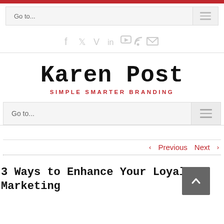Go to...
[Figure (screenshot): Social media icons: Facebook, Twitter, Vimeo, LinkedIn, YouTube, RSS, Email]
[Figure (logo): Karen Post logo with tagline SIMPLE SMARTER BRANDING]
Go to...
Previous  Next
3 Ways to Enhance Your Loyalty Marketing